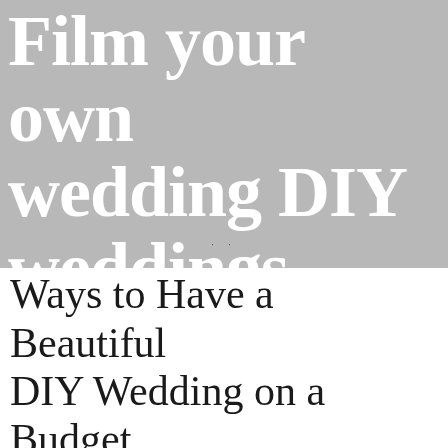[Figure (illustration): Gray background hero image with large white bold serif text reading 'Film your own wedding DIY weddings' and two small dots at the bottom center]
Ways to Have a Beautiful DIY Wedding on a Budget